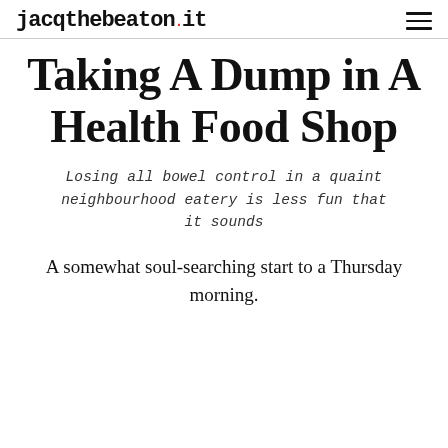jacqthebeaton.it
Taking A Dump in A Health Food Shop
Losing all bowel control in a quaint neighbourhood eatery is less fun that it sounds
A somewhat soul-searching start to a Thursday morning.